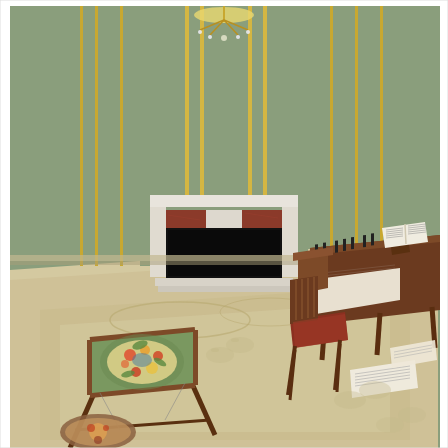[Figure (illustration): An elegant 18th-century style room interior viewed from above at an angle. The room features sage green paneled walls with vertical gold trim stripes, a white and red marble fireplace with a dark firebox centered on the back wall, and a crystal chandelier visible at the top. A cream/beige ornate carpet with floral border design covers the floor. On the right side stands a wooden harpsichord or fortepiano with an open music book on a stand, and a wood chair with red upholstered seat placed before it; sheet music pages are scattered on the floor nearby. On the left foreground is a wooden needlework embroidery frame on a stand holding a colorful floral tapestry/needlepoint, with a small circular decorative item on the floor beside it. White ghostly footprint impressions are visible on the carpet floor suggesting the path of an invisible figure.]